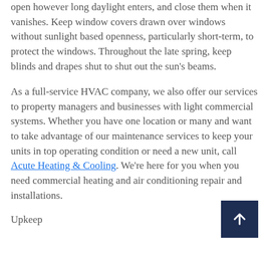open however long daylight enters, and close them when it vanishes. Keep window covers drawn over windows without sunlight based openness, particularly short-term, to protect the windows. Throughout the late spring, keep blinds and drapes shut to shut out the sun's beams.
As a full-service HVAC company, we also offer our services to property managers and businesses with light commercial systems. Whether you have one location or many and want to take advantage of our maintenance services to keep your units in top operating condition or need a new unit, call Acute Heating & Cooling. We're here for you when you need commercial heating and air conditioning repair and installations.
Upkeep